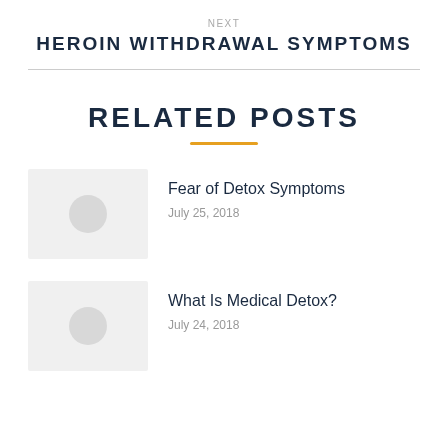NEXT
HEROIN WITHDRAWAL SYMPTOMS
RELATED POSTS
Fear of Detox Symptoms
July 25, 2018
What Is Medical Detox?
July 24, 2018